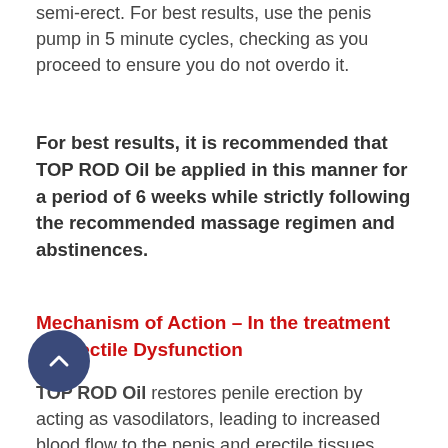semi-erect. For best results, use the penis pump in 5 minute cycles, checking as you proceed to ensure you do not overdo it.
For best results, it is recommended that TOP ROD Oil be applied in this manner for a period of 6 weeks while strictly following the recommended massage regimen and abstinences.
Mechanism of Action – In the treatment of Erectile Dysfunction
TOP ROD Oil restores penile erection by acting as vasodilators, leading to increased blood flow to the penis and erectile tissues. This effect is evident from the first application and many users have